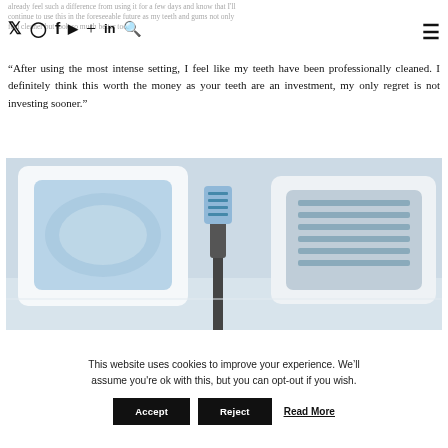already feel such a difference from using it for a few days and know that I'll continue to use this in the foreseeable future as my teeth and gums not only feel cleaner but look so much better too.
“After using the most intense setting, I feel like my teeth have been professionally cleaned. I definitely think this worth the money as your teeth are an investment, my only regret is not investing sooner.”
[Figure (photo): Two white ceramic trays containing dental appliances/aligners in blue and grey, with a blue electric toothbrush handle in the foreground, on a light wooden surface.]
This website uses cookies to improve your experience. We’ll assume you're ok with this, but you can opt-out if you wish.
Accept  Reject  Read More